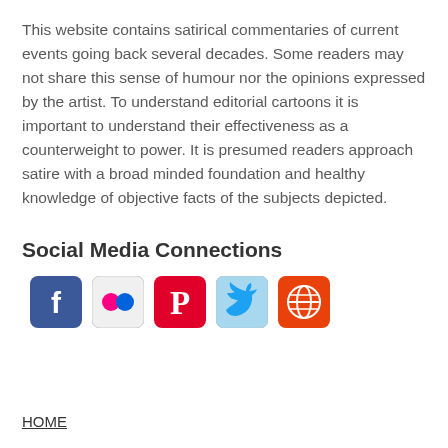This website contains satirical commentaries of current events going back several decades. Some readers may not share this sense of humour nor the opinions expressed by the artist. To understand editorial cartoons it is important to understand their effectiveness as a counterweight to power. It is presumed readers approach satire with a broad minded foundation and healthy knowledge of objective facts of the subjects depicted.
Social Media Connections
[Figure (infographic): Row of five social media icon buttons: Facebook (blue rounded square with white f), Flickr (grey rounded square with pink and blue dots), Pinterest (red rounded square with white P), Twitter (light blue rounded square with white bird), and a red rounded square with white globe/RSS icon.]
HOME